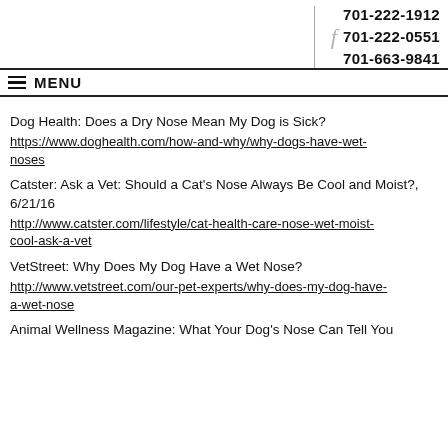f  701-222-1912  701-222-0551  701-663-9841
≡ MENU
Dog Health: Does a Dry Nose Mean My Dog is Sick?
https://www.doghealth.com/how-and-why/why-dogs-have-wet-noses
Catster: Ask a Vet: Should a Cat's Nose Always Be Cool and Moist?, 6/21/16
http://www.catster.com/lifestyle/cat-health-care-nose-wet-moist-cool-ask-a-vet
VetStreet: Why Does My Dog Have a Wet Nose?
http://www.vetstreet.com/our-pet-experts/why-does-my-dog-have-a-wet-nose
Animal Wellness Magazine: What Your Dog's Nose Can Tell You